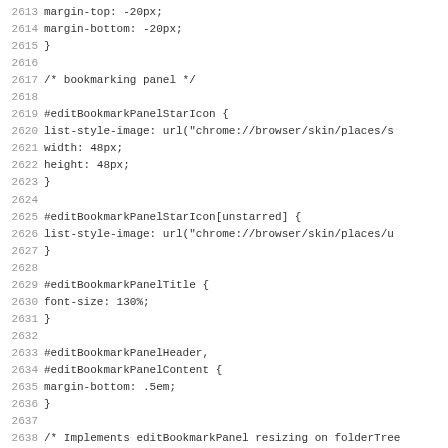2613   margin-top: -20px;
2614   margin-bottom: -20px;
2615 }
2616
2617 /* bookmarking panel */
2618
2619 #editBookmarkPanelStarIcon {
2620   list-style-image: url("chrome://browser/skin/places/s
2621   width: 48px;
2622   height: 48px;
2623 }
2624
2625 #editBookmarkPanelStarIcon[unstarred] {
2626   list-style-image: url("chrome://browser/skin/places/u
2627 }
2628
2629 #editBookmarkPanelTitle {
2630   font-size: 130%;
2631 }
2632
2633 #editBookmarkPanelHeader,
2634 #editBookmarkPanelContent {
2635   margin-bottom: .5em;
2636 }
2637
2638 /* Implements editBookmarkPanel resizing on folderTree
2639 #editBMPanel_folderTree {
2640   min-width: 27em;
2641 }
2642
2643 /* ::::: content area ::::: */
2644
2645 #widthbsoderform